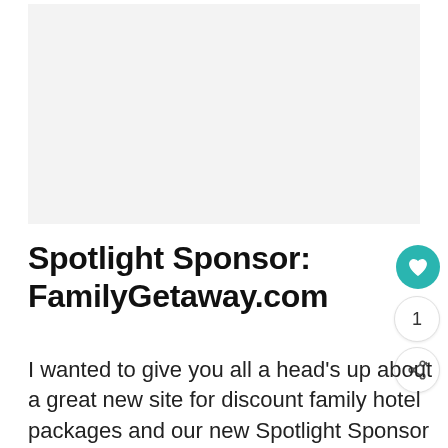[Figure (other): Light gray placeholder image area at the top of the page]
Spotlight Sponsor: FamilyGetaway.com
I wanted to give you all a head's up about a great new site for discount family hotel packages and our new Spotlight Sponsor at …